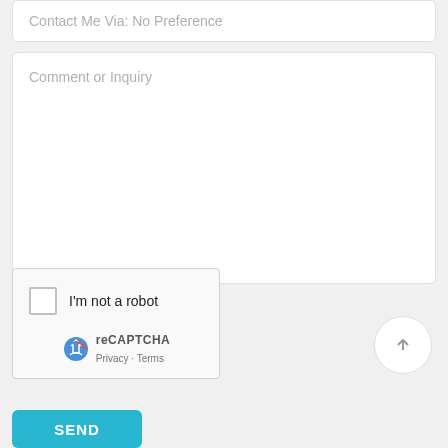Contact Me Via: No Preference
Comment or Inquiry
[Figure (screenshot): reCAPTCHA widget with checkbox labeled 'I'm not a robot', reCAPTCHA logo, and Privacy/Terms links]
[Figure (other): Circular up-arrow scroll-to-top button]
SEND